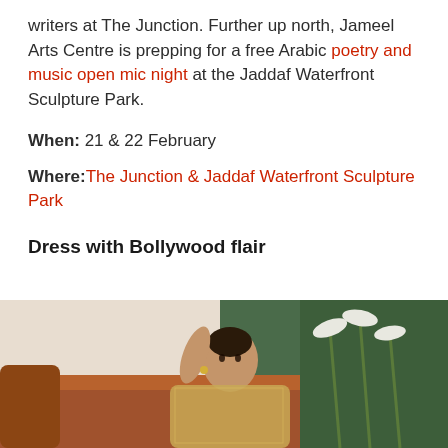writers at The Junction. Further up north, Jameel Arts Centre is prepping for a free Arabic poetry and music open mic night at the Jaddaf Waterfront Sculpture Park.
When: 21 & 22 February
Where: The Junction & Jaddaf Waterfront Sculpture Park
Dress with Bollywood flair
[Figure (photo): A woman with dark hair reclining on a brown leather sofa, wearing a glittery outfit, with white lily flowers and green foliage in the background.]